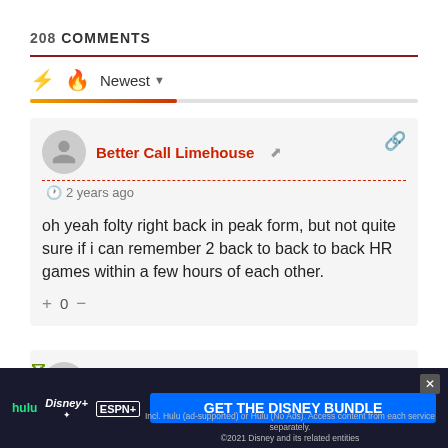208 COMMENTS
Newest
Better Call Limehouse
2 years ago

oh yeah folty right back in peak form, but not quite sure if i can remember 2 back to back to back HR games within a few hours of each other.

+ 0 −
Waffles
[Figure (screenshot): Disney Bundle advertisement banner showing Hulu, Disney+, ESPN+ logos with 'GET THE DISNEY BUNDLE' CTA button]